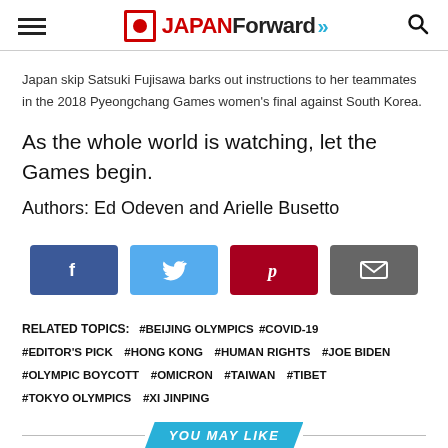JAPAN Forward
Japan skip Satsuki Fujisawa barks out instructions to her teammates in the 2018 Pyeongchang Games women’s final against South Korea.
As the whole world is watching, let the Games begin.
Authors: Ed Odeven and Arielle Busetto
[Figure (other): Social share buttons: Facebook, Twitter, Pinterest, Email]
RELATED TOPICS: #BEIJING OLYMPICS #COVID-19 #EDITOR’S PICK #HONG KONG #HUMAN RIGHTS #JOE BIDEN #OLYMPIC BOYCOTT #OMICRON #TAIWAN #TIBET #TOKYO OLYMPICS #XI JINPING
YOU MAY LIKE